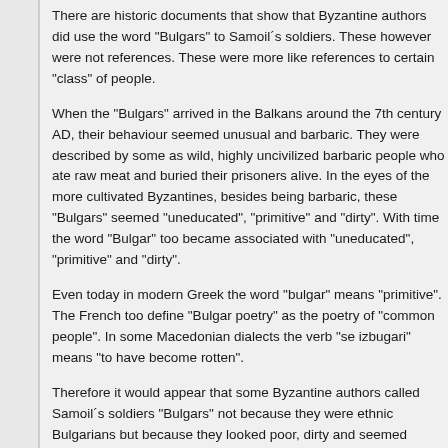There are historic documents that show that Byzantine authors did use the word "Bulgars" to Samoil´s soldiers. These however were not references. These were more like references to certain "class" of people.
When the "Bulgars" arrived in the Balkans around the 7th century AD, their behaviour seemed unusual and barbaric. They were described by some as wild, highly uncivilized barbaric people who ate raw meat and buried their prisoners alive. In the eyes of the more cultivated Byzantines, besides being barbaric, these "Bulgars" seemed "uneducated", "primitive" and "dirty". With time the word "Bulgar" too became associated with "uneducated", "primitive" and "dirty".
Even today in modern Greek the word "bulgar" means "primitive". The French too define "Bulgar poetry" as the poetry of "common people". In some Macedonian dialects the verb "se izbugari" means "to have become rotten".
Therefore it would appear that some Byzantine authors called Samoil´s soldiers "Bulgars" not because they were ethnic Bulgarians but because they looked poor, dirty and seemed uneducated and primitive like the real Bulgars.
Assuming that during Tsar Samoil´s reign Macedonia was actually "Bulgaria", the...